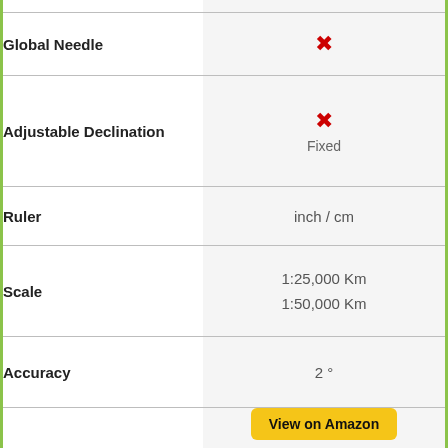| Feature | Value |
| --- | --- |
| Global Needle | ✗ |
| Adjustable Declination | ✗
Fixed |
| Ruler | inch / cm |
| Scale | 1:25,000 Km
1:50,000 Km |
| Accuracy | 2 ° |
| Where to Buy | View on Amazon
View on Moose Jaw |